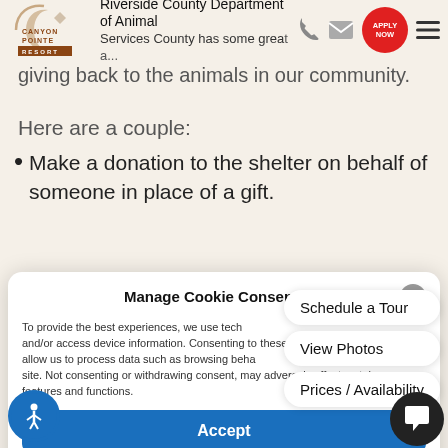Riverside County Department of Animal Services County has some great a...
giving back to the animals in our community.
Here are a couple:
Make a donation to the shelter on behalf of someone in place of a gift.
Manage Cookie Consent
To provide the best experiences, we use tech and/or access device information. Consenting to these technologies will allow us to process data such as browsing beha... site. Not consenting or withdrawing consent, may adversely affect certain features and functions.
Accept
Cookie Policy   Privacy Statement
Schedule a Tour
View Photos
Prices / Availability